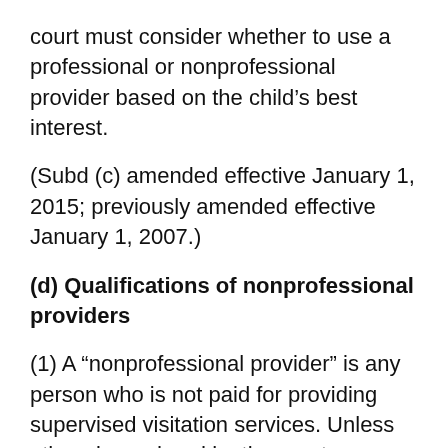court must consider whether to use a professional or nonprofessional provider based on the child's best interest.
(Subd (c) amended effective January 1, 2015; previously amended effective January 1, 2007.)
(d) Qualifications of nonprofessional providers
(1) A “nonprofessional provider” is any person who is not paid for providing supervised visitation services. Unless otherwise ordered by the court or stipulated by the parties, the